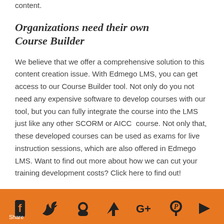content.
Organizations need their own Course Builder
We believe that we offer a comprehensive solution to this content creation issue. With Edmego LMS, you can get access to our Course Builder tool. Not only do you not need any expensive software to develop courses with our tool, but you can fully integrate the course into the LMS just like any other SCORM or AICC  course. Not only that, these developed courses can be used as exams for live instruction sessions, which are also offered in Edmego LMS. Want to find out more about how we can cut your training development costs? Click here to find out!
*add link to information video about course builder tool*
Share